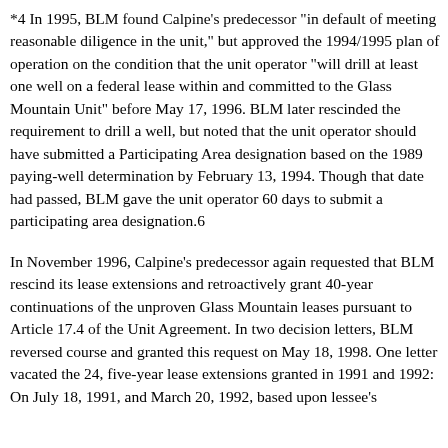*4 In 1995, BLM found Calpine's predecessor "in default of meeting reasonable diligence in the unit," but approved the 1994/1995 plan of operation on the condition that the unit operator "will drill at least one well on a federal lease within and committed to the Glass Mountain Unit" before May 17, 1996. BLM later rescinded the requirement to drill a well, but noted that the unit operator should have submitted a Participating Area designation based on the 1989 paying-well determination by February 13, 1994. Though that date had passed, BLM gave the unit operator 60 days to submit a participating area designation.6
In November 1996, Calpine's predecessor again requested that BLM rescind its lease extensions and retroactively grant 40-year continuations of the unproven Glass Mountain leases pursuant to Article 17.4 of the Unit Agreement. In two decision letters, BLM reversed course and granted this request on May 18, 1998. One letter vacated the 24, five-year lease extensions granted in 1991 and 1992: On July 18, 1991, and March 20, 1992, based upon lessee's